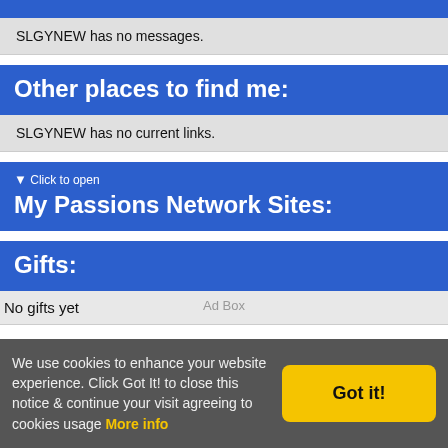Other places to find me:
SLGYNEW has no messages.
Other places to find me:
SLGYNEW has no current links.
▼ Click to open
My Passions Network Sites:
Gifts:
No gifts yet
Ad Box
We use cookies to enhance your website experience. Click Got It! to close this notice & continue your visit agreeing to cookies usage More info
Got it!